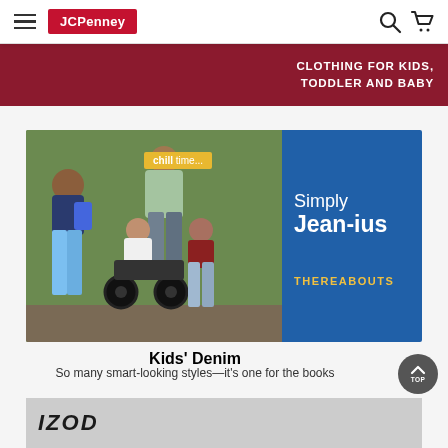[Figure (screenshot): JCPenney website navigation bar with hamburger menu, JCPenney red logo, search icon, and cart icon]
[Figure (screenshot): Red banner strip with text: CLOTHING FOR KIDS, TODDLER AND BABY]
[Figure (photo): JCPenney promotional banner for kids denim featuring children in various outfits, one in a wheelchair, with text 'chill time', 'Simply Jean-ius', and 'THEREABOUTS' on blue right panel]
Kids' Denim
So many smart-looking styles—it's one for the books
[Figure (photo): Bottom strip showing IZOD logo with children in background]